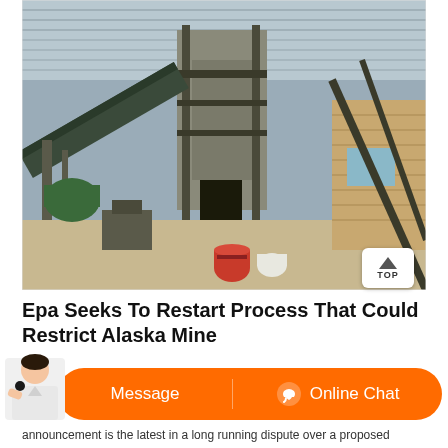[Figure (photo): Industrial mining facility interior showing conveyor belts, large metal framework/structure, machinery, barrels on ground, inside a large warehouse with corrugated metal roof]
Epa Seeks To Restart Process That Could Restrict Alaska Mine
Sep 09, 2021 The U.S. Environmental Protection Agency announced T
[Figure (infographic): Chat bar overlay with orange pill-shaped background, showing 'Message' on left and 'Online Chat' with headset icon on right, with customer service avatar on left side]
announcement is the latest in a long running dispute over a proposed